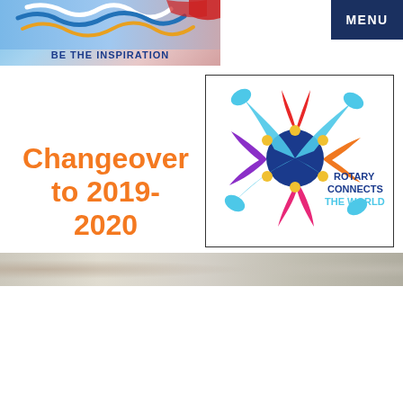[Figure (logo): Rotary 'Be The Inspiration' banner with blue wave logo and bold text]
[Figure (logo): MENU navigation button, dark navy background with white bold text]
Changeover to 2019-2020
[Figure (logo): Rotary 'Rotary Connects The World' logo with colorful splash design in blue, red, orange, purple, pink with gold dots on dark blue center]
[Figure (photo): Partial photo strip at bottom of page showing an interior scene]